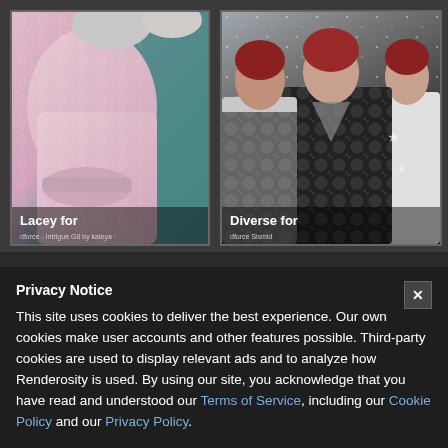[Figure (photo): Two fashion product images side by side. Left: Pink lace dress with teal dress visible in background, labeled 'Lacey for dforce - Intrigue G8 by kaleya'. Right: Three red-haired female figures in black and white patterned jackets, labeled 'Diverse for dforce Sismid'.]
Privacy Notice
This site uses cookies to deliver the best experience. Our own cookies make user accounts and other features possible. Third-party cookies are used to display relevant ads and to analyze how Renderosity is used. By using our site, you acknowledge that you have read and understood our Terms of Service, including our Cookie Policy and our Privacy Policy.